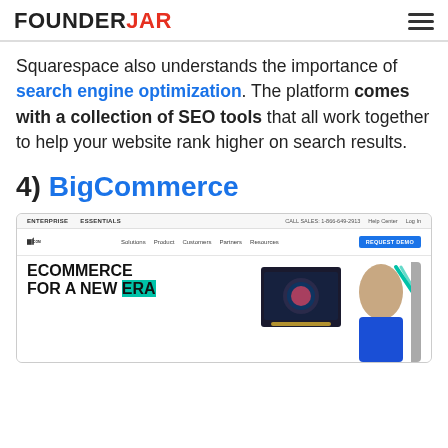FOUNDERJAR
Squarespace also understands the importance of search engine optimization. The platform comes with a collection of SEO tools that all work together to help your website rank higher on search results.
4) BigCommerce
[Figure (screenshot): Screenshot of the BigCommerce website showing the navigation bar with ENTERPRISE and ESSENTIALS tabs, BigCommerce logo, nav links (Solutions, Product, Customers, Partners, Resources), REQUEST DEMO button, and hero section with bold text 'ECOMMERCE FOR A NEW ERA' with teal highlight, alongside product and person imagery.]